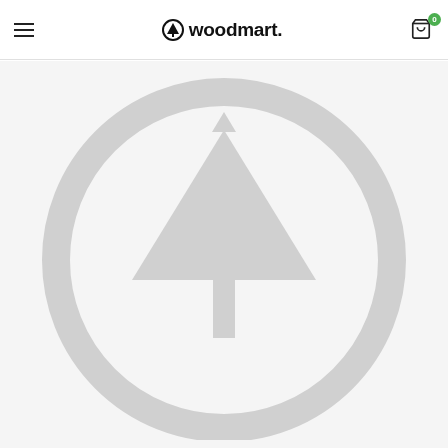woodmart.
[Figure (logo): Woodmart placeholder product image: large light gray circle outline with a tree/arrow icon inside, on a light gray background]